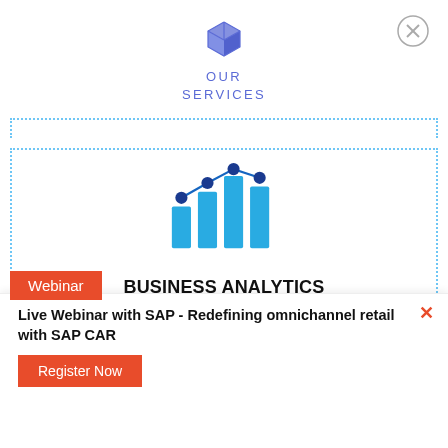[Figure (logo): Blue 3D cube icon above OUR SERVICES text]
OUR
SERVICES
[Figure (illustration): Business analytics icon: blue bar chart with line graph dots above bars]
BUSINESS ANALYTICS
Webinar
Live Webinar with SAP - Redefining omnichannel retail with SAP CAR
Register Now